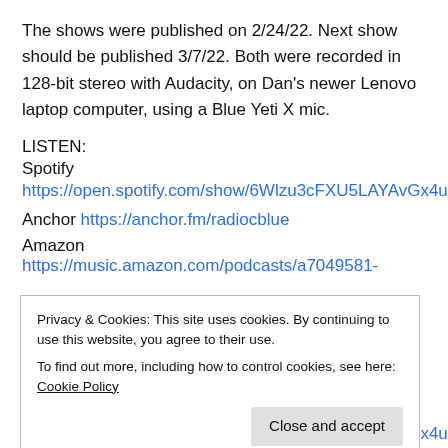The shows were published on 2/24/22. Next show should be published 3/7/22. Both were recorded in 128-bit stereo with Audacity, on Dan's newer Lenovo laptop computer, using a Blue Yeti X mic.
LISTEN:
Spotify
https://open.spotify.com/show/6Wlzu3cFXU5LAYAvGx4u4T
Anchor https://anchor.fm/radiocblue
Amazon https://music.amazon.com/podcasts/a7049581-
Privacy & Cookies: This site uses cookies. By continuing to use this website, you agree to their use.
To find out more, including how to control cookies, see here: Cookie Policy
Close and accept